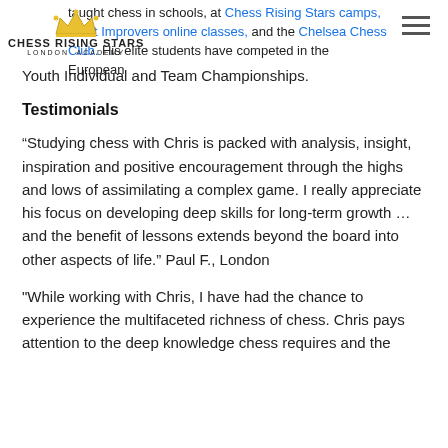taught chess in schools, at Chess Rising Stars camps, Adult Improvers online classes, and the Chelsea Chess Club. His elite students have competed in the European Youth Individual and Team Championships.
Testimonials
“Studying chess with Chris is packed with analysis, insight, inspiration and positive encouragement through the highs and lows of assimilating a complex game. I really appreciate his focus on developing deep skills for long-term growth … and the benefit of lessons extends beyond the board into other aspects of life.” Paul F., London
"While working with Chris, I have had the chance to experience the multifaceted richness of chess. Chris pays attention to the deep knowledge chess requires and the